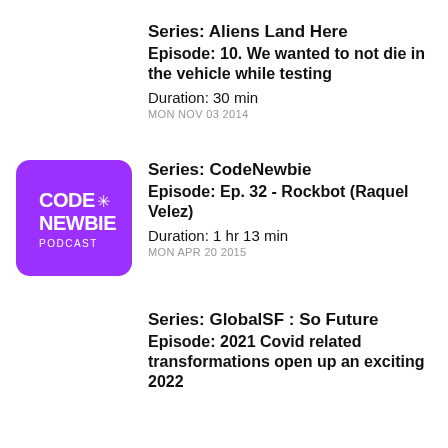Series: Aliens Land Here
Episode: 10. We wanted to not die in the vehicle while testing
Duration: 30 min
MON NOV 03 2014
[Figure (logo): CodeNewbie Podcast logo — purple rounded square with CODE NEWBIE PODCAST text and a star/asterisk icon in white]
Series: CodeNewbie
Episode: Ep. 32 - Rockbot (Raquel Velez)
Duration: 1 hr 13 min
MON APR 20 2015
Series: GlobalSF : So Future
Episode: 2021 Covid related transformations open up an exciting 2022...